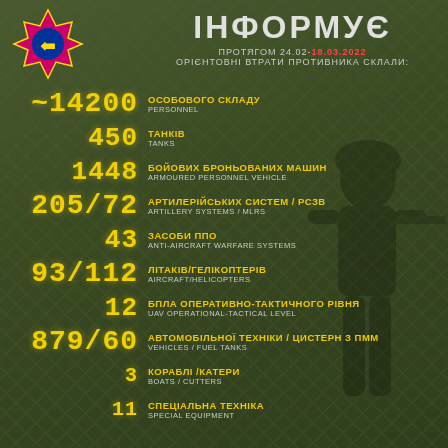[Figure (logo): Ukrainian Armed Forces emblem — pink/red cross with yellow border, blue circle center with yellow trident]
ІНФОРМУЄ
ПРОТЯГОМ 24.02-18.03.2022 ОРІЄНТОВНІ ВТРАТИ ПРОТИВНИКА СКЛАЛИ:
~14200 ОСОБОВОГО СКЛАДУ / PERSONNEL
450 ТАНКІВ / TANKS
1448 БОЙОВИХ БРОНЬОВАНИХ МАШИН / ARMOURED PERSONNEL VEHICLE
205/72 АРТИЛЕРІЙСЬКИХ СИСТЕМ / РСЗВ / ARTILLERY SYSTEMS / MLRS
43 ЗАСОБИ ППО / ANTI-AIRCRAFT WARFARE SYSTEMS
93/112 ЛІТАКІВ/ГЕЛІКОПТЕРІВ / AIRCRAFT/HELICOPTERS
12 БПЛА ОПЕРАТИВНО-ТАКТИЧНОГО РІВНЯ / UAV OPERATIONAL-TACTICAL LEVEL
879/60 АВТОМОБІЛЬНОЇ ТЕХНІКИ / ЦИСТЕРН З ПММ / VEHICLES / FUEL TANKS
3 КОРАБЛІ /КАТЕРИ / BOATS / CUTTERS
11 СПЕЦІАЛЬНА ТЕХНІКА / SPECIAL EQUIPMENT